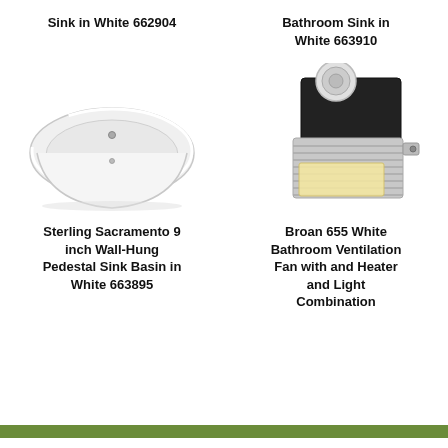Sink in White 662904
Bathroom Sink in White 663910
[Figure (photo): White wall-hung pedestal sink basin, modern rectangular shape with rounded front, overhead view]
[Figure (photo): Broan bathroom ventilation fan with heater and light combination unit, chrome grille with light panel and round bulb]
Sterling Sacramento 9 inch Wall-Hung Pedestal Sink Basin in White 663895
Broan 655 White Bathroom Ventilation Fan with and Heater and Light Combination